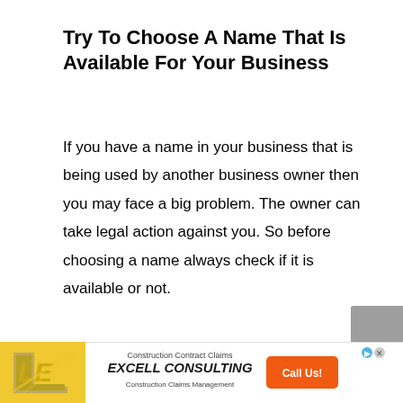Try To Choose A Name That Is Available For Your Business
If you have a name in your business that is being used by another business owner then you may face a big problem. The owner can take legal action against you. So before choosing a name always check if it is available or not.
[Figure (infographic): Advertisement banner for Excell Consulting - Construction Contract Claims and Construction Claims Management with orange Call Us! button]